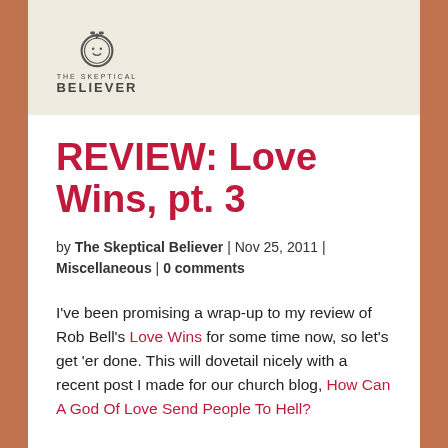[Figure (logo): The Skeptical Believer logo — a clock/stopwatch icon above the text 'THE SKEPTICAL BELIEVER']
REVIEW: Love Wins, pt. 3
by The Skeptical Believer | Nov 25, 2011 | Miscellaneous | 0 comments
I've been promising a wrap-up to my review of Rob Bell's Love Wins for some time now, so let's get 'er done. This will dovetail nicely with a recent post I made for our church blog, How Can A God Of Love Send People To Hell?